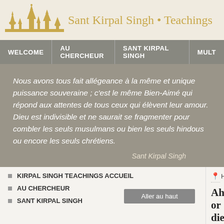[Figure (logo): Golden silhouette of temple/mosque skyline logo]
Sant Kirpal Singh • Teachings
WELCOME | AU CHERCHEUR | SANT KIRPAL SINGH | MULT
Nous avons tous fait allégeance à la même et unique puissance souveraine ; c'est le même Bien-Aimé qui répond aux attentes de tous ceux qui élèvent leur amour. Dieu est indivisible et ne saurait se fragmenter pour combler les seuls musulmans ou bien les seuls hindous ou encore les seuls chrétiens.
Sant Kirpal Singh
KIRPAL SINGH TEACHINGS ACCUEIL
AU CHERCHEUR
SANT KIRPAL SINGH
HOME ▶ BOOKS
Aller au haut
Ahar or diet